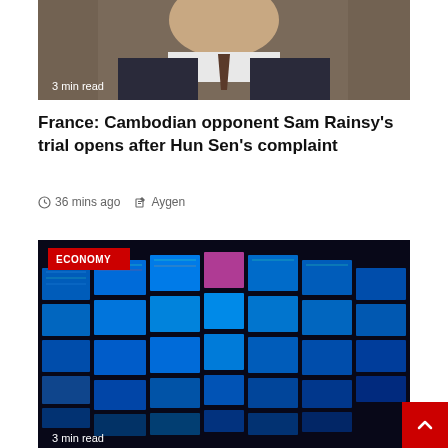[Figure (photo): Close-up photo of a man in a suit, partially visible from chin to chest area, with '3 min read' badge overlay]
France: Cambodian opponent Sam Rainsy’s trial opens after Hun Sen’s complaint
36 mins ago  Aygen
[Figure (photo): Photo of multiple trading screens/monitors displaying financial data, with an 'ECONOMY' red badge overlay and '3 min read' badge at bottom]